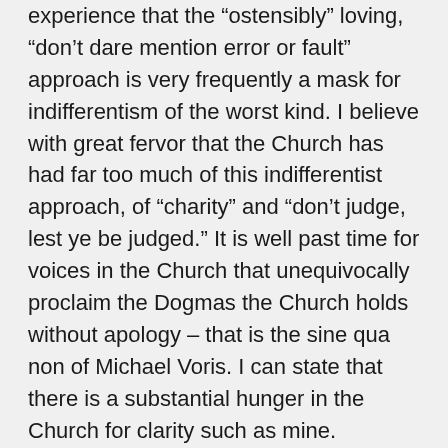experience that the “ostensibly” loving, “don’t dare mention error or fault” approach is very frequently a mask for indifferentism of the worst kind. I believe with great fervor that the Church has had far too much of this indifferentist approach, of “charity” and “don’t judge, lest ye be judged.” It is well past time for voices in the Church that unequivocally proclaim the Dogmas the Church holds without apology – that is the sine qua non of Michael Voris. I can state that there is a substantial hunger in the Church for clarity such as mine.
But, forgive me, I am a sinner and constantly err on this blog. All of your criticisms are likely correct. I do my best.